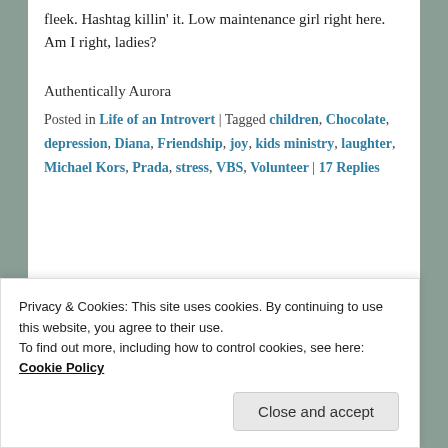fleek. Hashtag killin' it. Low maintenance girl right here. Am I right, ladies?
Authentically Aurora
Posted in Life of an Introvert | Tagged children, Chocolate, depression, Diana, Friendship, joy, kids ministry, laughter, Michael Kors, Prada, stress, VBS, Volunteer | 17 Replies
[Figure (photo): Green banner/image partially visible]
Privacy & Cookies: This site uses cookies. By continuing to use this website, you agree to their use.
To find out more, including how to control cookies, see here: Cookie Policy
Close and accept